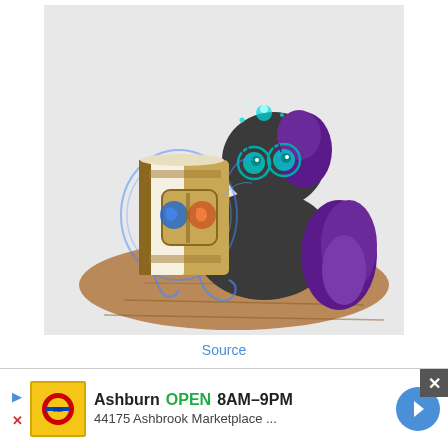[Figure (illustration): Cartoon illustration of a dark grey pony with purple mane, teal glasses and glowing teal horn, sitting on a wooden floor reading a glowing Hearthstone-style book with magical blue energy around it. Light grey background.]
Source
[Figure (illustration): Partial view of a second cartoon pony illustration, mostly cut off, showing a grey/lavender pony at the bottom of the frame with a question mark visible.]
Ashburn OPEN 8AM–9PM 44175 Ashbrook Marketplace ...